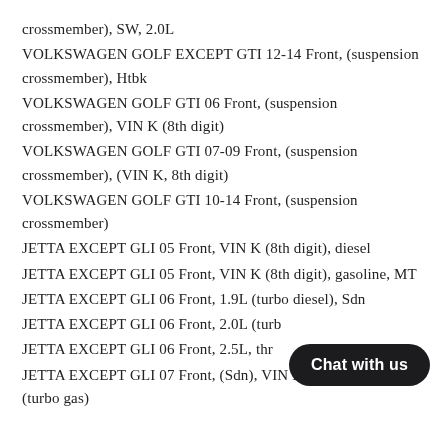crossmember), SW, 2.0L
VOLKSWAGEN GOLF EXCEPT GTI 12-14 Front, (suspension crossmember), Htbk
VOLKSWAGEN GOLF GTI 06 Front, (suspension crossmember), VIN K (8th digit)
VOLKSWAGEN GOLF GTI 07-09 Front, (suspension crossmember), (VIN K, 8th digit)
VOLKSWAGEN GOLF GTI 10-14 Front, (suspension crossmember)
JETTA EXCEPT GLI 05 Front, VIN K (8th digit), diesel
JETTA EXCEPT GLI 05 Front, VIN K (8th digit), gasoline, MT
JETTA EXCEPT GLI 06 Front, 1.9L (turbo diesel), Sdn
JETTA EXCEPT GLI 06 Front, 2.0L (turb…
JETTA EXCEPT GLI 06 Front, 2.5L, thr…
JETTA EXCEPT GLI 07 Front, (Sdn), VIN K (8th digit), 2.0L (turbo gas)